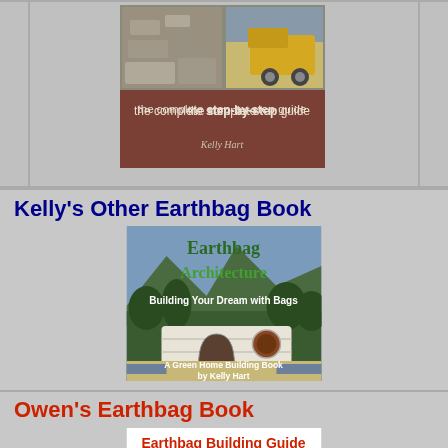[Figure (photo): Top portion of a book cover showing construction/earthbag images and text 'the complete step-by-step guide' by Kelly Hart on a brown/mauve background.]
Kelly's Other Earthbag Book
[Figure (photo): Book cover: 'Earthbag Architecture - Building Your Dream with Bags' - A Green Home Building Book by Kelly Hart. Shows a photo of an earthbag structure with sandbag dome/arch construction against a mountain background.]
Owen's Earthbag Book
[Figure (photo): Bottom of book cover reading 'Earthbag Building Guide' in red text on white background.]